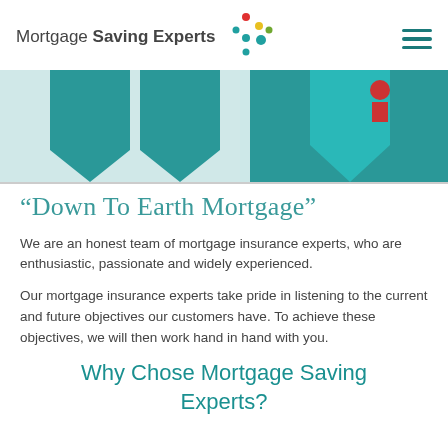Mortgage Saving Experts
[Figure (photo): Teal/turquoise colored envelopes or triangular shapes arranged as a decorative hero banner image]
“Down To Earth Mortgage”
We are an honest team of mortgage insurance experts, who are enthusiastic, passionate and widely experienced.
Our mortgage insurance experts take pride in listening to the current and future objectives our customers have. To achieve these objectives, we will then work hand in hand with you.
Why Chose Mortgage Saving Experts?